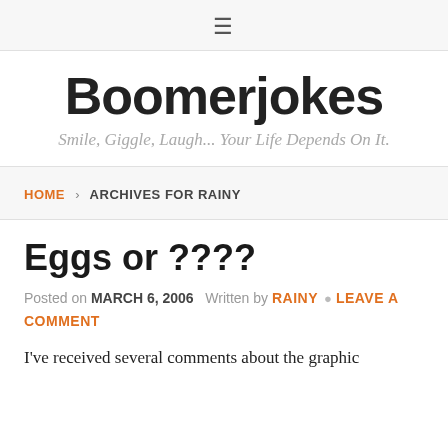≡
Boomerjokes
Smile, Giggle, Laugh... Your Life Depends On It.
HOME › ARCHIVES FOR RAINY
Eggs or ????
Posted on MARCH 6, 2006   Written by RAINY   🏷 LEAVE A COMMENT
I've received several comments about the graphic